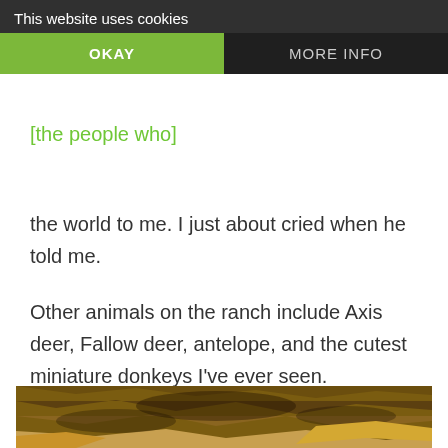feed one but barely got to touch them. To me, alpacas have added beauty to the ranch. And, [the people who] have adopted them, means the world to me. I just about cried when he told me.
Other animals on the ranch include Axis deer, Fallow deer, antelope, and the cutest miniature donkeys I've ever seen.
[Figure (photo): Close-up photo of rocky, earthy terrain showing layered rock and soil formations in brown and tan tones.]